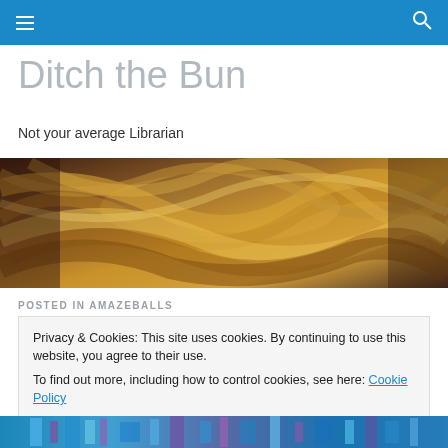Navigation bar with hamburger menu and search icon
Ditch the Bun
Not your average Librarian
[Figure (photo): Close-up photo of wavy blonde/brown hair filling the banner area]
POSTED IN AMAZEBALLS
Privacy & Cookies: This site uses cookies. By continuing to use this website, you agree to their use.
To find out more, including how to control cookies, see here: Cookie Policy
Close and accept
[Figure (photo): Colorful image strip at the bottom of the page]